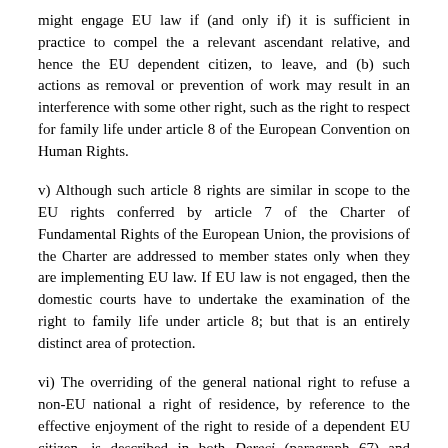might engage EU law if (and only if) it is sufficient in practice to compel the a relevant ascendant relative, and hence the EU dependent citizen, to leave, and (b) such actions as removal or prevention of work may result in an interference with some other right, such as the right to respect for family life under article 8 of the European Convention on Human Rights.
v) Although such article 8 rights are similar in scope to the EU rights conferred by article 7 of the Charter of Fundamental Rights of the European Union, the provisions of the Charter are addressed to member states only when they are implementing EU law. If EU law is not engaged, then the domestic courts have to undertake the examination of the right to family life under article 8; but that is an entirely distinct area of protection.
vi) The overriding of the general national right to refuse a non-EU national a right of residence, by reference to the effective enjoyment of the right to reside of a dependent EU citizen, is described in both Dereci (paragraph 67) and Harrigan (paragraph 65) as a "question" of